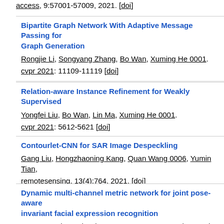access, 9:57001-57009, 2021. [doi]
Bipartite Graph Network With Adaptive Message Passing fo... Graph Generation
Rongjie Li, Songyang Zhang, Bo Wan, Xuming He 0001.
cvpr 2021: 11109-11119 [doi]
Relation-aware Instance Refinement for Weakly Supervised...
Yongfei Liu, Bo Wan, Lin Ma, Xuming He 0001.
cvpr 2021: 5612-5621 [doi]
Contourlet-CNN for SAR Image Despeckling
Gang Liu, Hongzhaoning Kang, Quan Wang 0006, Yumin Tian, ...
remotesensing, 13(4):764, 2021. [doi]
Dynamic multi-channel metric network for joint pose-aware... invariant facial expression recognition
Yuanyuan Liu, Wei Dai, Fang Fang, Yongquan Chen, Rui Huang...
isci, 578:195-213, 2021. [doi]